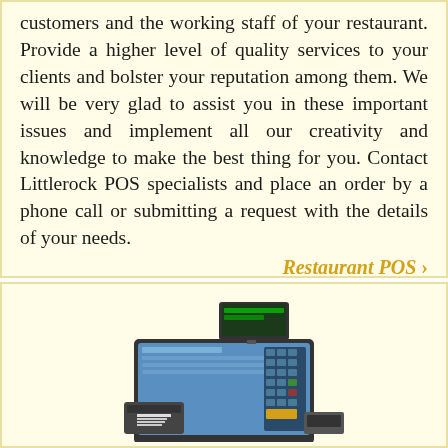customers and the working staff of your restaurant. Provide a higher level of quality services to your clients and bolster your reputation among them. We will be very glad to assist you in these important issues and implement all our creativity and knowledge to make the best thing for you. Contact Littlerock POS specialists and place an order by a phone call or submitting a request with the details of your needs.
Restaurant POS >
[Figure (photo): A POS (point of sale) terminal system with a touchscreen monitor, customer display, receipt printer, keypad, and other hardware components on a stand.]